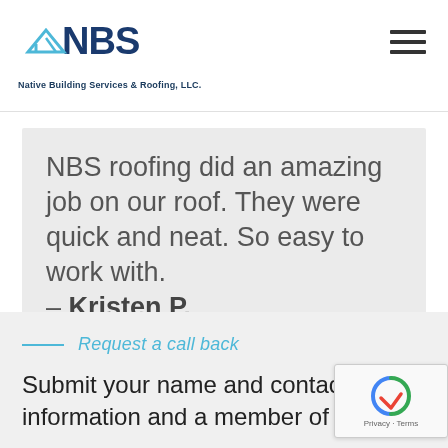NBS — Native Building Services & Roofing, LLC.
NBS roofing did an amazing job on our roof. They were quick and neat. So easy to work with. – Kristen P.
[Figure (other): Five blue star rating icons]
Request a call back
Submit your name and contact information and a member of our